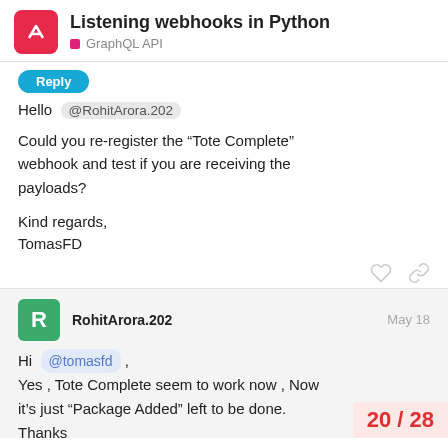Listening webhooks in Python — GraphQL API
Hello @RohitArora.202
Could you re-register the “Tote Complete” webhook and test if you are receiving the payloads?

Kind regards,
TomasFD
RohitArora.202 — May 18
Hi @tomasfd , Yes , Tote Complete seem to work now , Now it’s just “Package Added” left to be done. Thanks